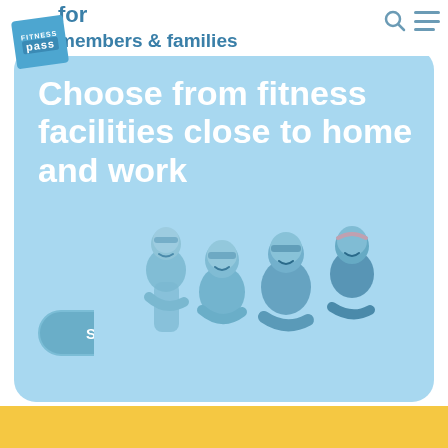for members & families
[Figure (logo): Fitness Pass logo badge in blue with 'FITNESS pass' text]
Choose from fitness facilities close to home and work
SIGN UP
[Figure (photo): Group of four children/teens in swimwear posing together, shown in blue-tinted black and white]